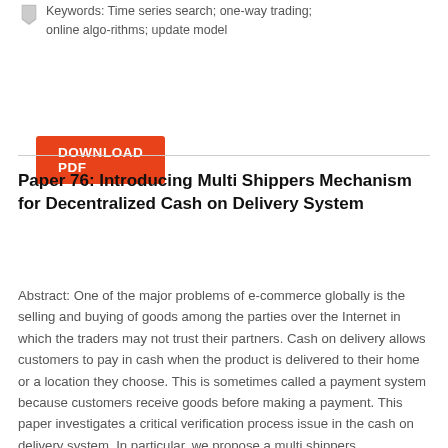Keywords: Time series search; one-way trading; online algo-rithms; update model
DOWNLOAD PDF
Paper 76: Introducing Multi Shippers Mechanism for Decentralized Cash on Delivery System
Abstract: One of the major problems of e-commerce globally is the selling and buying of goods among the parties over the Internet in which the traders may not trust their partners. Cash on delivery allows customers to pay in cash when the product is delivered to their home or a location they choose. This is sometimes called a payment system because customers receive goods before making a payment. This paper investigates a critical verification process issue in the cash on delivery system. In particular, we propose a multi shippers mechanism, which consists of blockchain technology, smart contracts and hyper-ledger fabric platform to achieve distributed and trustworthy verification across participants in the decentralized markets. Our proposed mechanism is given to not only ensure the benefits of the seller but also prevent